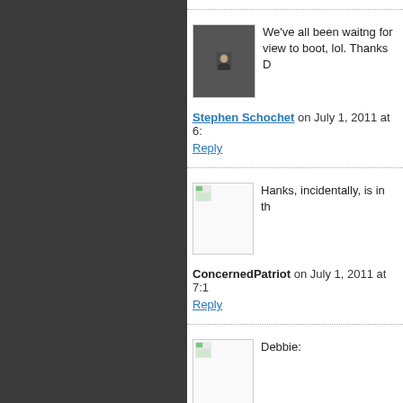We've all been waitng for view to boot, lol. Thanks D
Stephen Schochet on July 1, 2011 at 6:
Reply
Hanks, incidentally, is in th
ConcernedPatriot on July 1, 2011 at 7:1
Reply
Debbie:
I will not deny that liberal H "Larry Crowne" was a bun trends? You have the displaced blue c